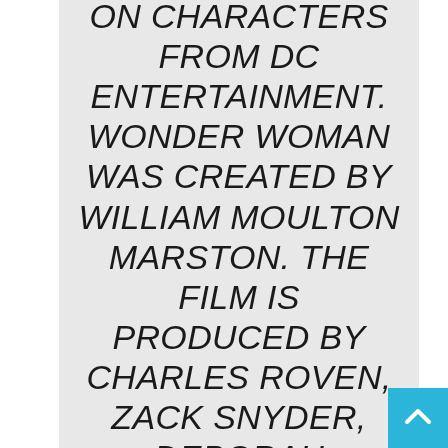ON CHARACTERS FROM DC ENTERTAINMENT. WONDER WOMAN WAS CREATED BY WILLIAM MOULTON MARSTON. THE FILM IS PRODUCED BY CHARLES ROVEN, ZACK SNYDER, DEBORAH SNYDER AND RICHARD SUCKLE, WITH REBECCA ROVEN, STEPHEN JONES,